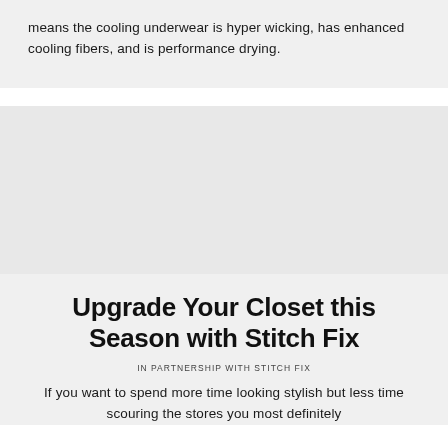means the cooling underwear is hyper wicking, has enhanced cooling fibers, and is performance drying.
[Figure (photo): Image placeholder / product photo area (gray background, content not visible)]
Upgrade Your Closet this Season with Stitch Fix
IN PARTNERSHIP WITH STITCH FIX
If you want to spend more time looking stylish but less time scouring the stores you most definitely